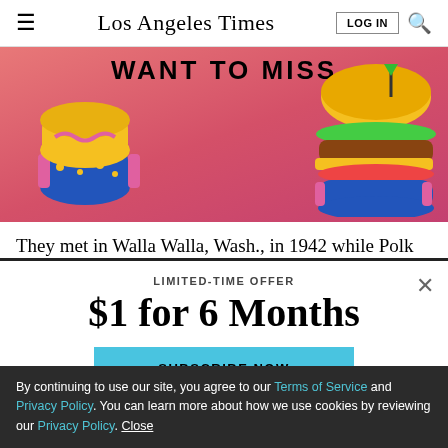Los Angeles Times
[Figure (illustration): Colorful illustrated advertisement banner with cartoon food items (cookies/pastries and a hamburger) on a pink/red gradient background with text 'WANT TO MISS']
They met in Walla Walla, Wash., in 1942 while Polk
LIMITED-TIME OFFER
$1 for 6 Months
SUBSCRIBE NOW
By continuing to use our site, you agree to our Terms of Service and Privacy Policy. You can learn more about how we use cookies by reviewing our Privacy Policy. Close